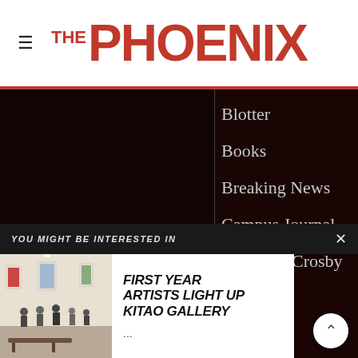THE PHOENIX
Blotter
Books
Breaking News
Campus Journal
Caps Not Crosby
Chatter
...ports
...e
...nists
...ns
Columns
YOU MIGHT BE INTERESTED IN
FIRST YEAR ARTISTS LIGHT UP KITAO GALLERY
...
[Figure (photo): Art gallery scene with people viewing artwork on white walls, bench in foreground]